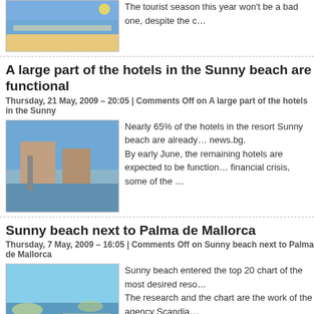[Figure (photo): Beach/resort thumbnail, top partial article]
The tourist season this year won't be a bad one, despite the c…
A large part of the hotels in the Sunny beach are functional
Thursday, 21 May, 2009 – 20:05 | Comments Off on A large part of the hotels in the Sunny
[Figure (photo): Sunny beach resort hotel waterfront thumbnail]
Nearly 65% of the hotels in the resort Sunny beach are already… news.bg.
By early June, the remaining hotels are expected to be function… financial crisis, some of the …
Sunny beach next to Palma de Mallorca
Thursday, 7 May, 2009 – 16:05 | Comments Off on Sunny beach next to Palma de Mallorca
[Figure (photo): Resort pool and sunbeds thumbnail]
Sunny beach entered the top 20 chart of the most desired reso…
The research and the chart are the work of the agency Scandia…
taken by the Spanish …
Hotels in the Sunny beach – almost 100% full
Monday, 4 May, 2009 – 22:04 | Comments Off on Hotels in the Sunny beach – almost 100%
[Figure (photo): Sunny beach shoreline thumbnail]
Mostly Bulgarians and Romanians spend the May holidays in th… clarified the chairman of the Executive council of the Union of h…
She added that there are several small …